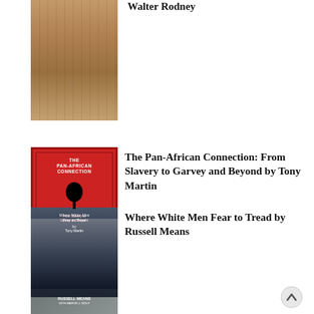[Figure (photo): Sepia-toned historical street photograph, partially visible at top of page, book cover for a work by Walter Rodney]
Walter Rodney
[Figure (photo): Red book cover with tree silhouette: The Pan-African Connection: From Slavery to Garvey and Beyond by Tony Martin]
The Pan-African Connection: From Slavery to Garvey and Beyond by Tony Martin
[Figure (photo): Dark monochromatic book cover showing Native American figure: Where White Men Fear to Tread by Russell Means]
Where White Men Fear to Tread by Russell Means
[Figure (photo): Partial book cover visible at bottom of page]